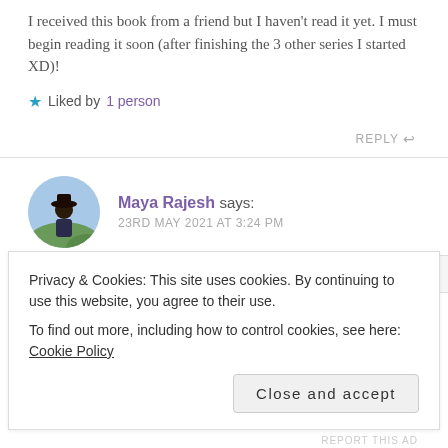I received this book from a friend but I haven't read it yet. I must begin reading it soon (after finishing the 3 other series I started XD)!
Liked by 1 person
REPLY
Maya Rajesh says: 23RD MAY 2021 AT 3:24 PM
Privacy & Cookies: This site uses cookies. By continuing to use this website, you agree to their use.
To find out more, including how to control cookies, see here: Cookie Policy
Close and accept